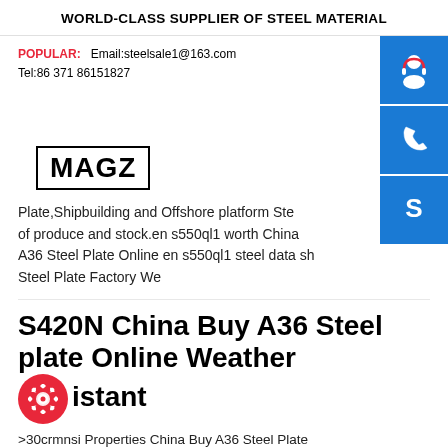WORLD-CLASS SUPPLIER OF STEEL MATERIAL
POPULAR:  Email:steelsale1@163.com
Tel:86 371 86151827
[Figure (logo): MAGZ logo in bold black text inside a rectangular border]
Plate,Shipbuilding and Offshore platform Ste of produce and stock.en s550ql1 worth China A36 Steel Plate Online en s550ql1 steel data sh Steel Plate Factory We
S420N China Buy A36 Steel plate Online Weather Resistant
>30crmnsi Properties China Buy A36 Steel Plate